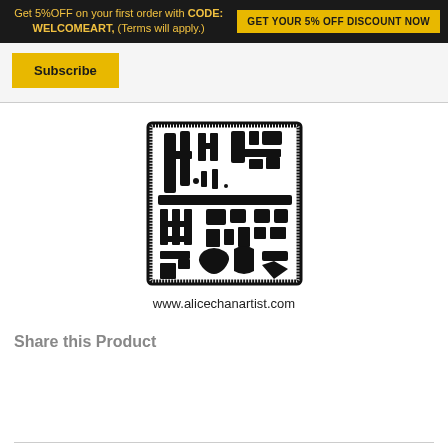Get 5%OFF on your first order with CODE: WELCOMEART, (Terms will apply.) GET YOUR 5% OFF DISCOUNT NOW
Subscribe
[Figure (logo): Square Chinese seal/stamp logo with black ink brushwork characters on white background, associated with www.alicechanartist.com]
www.alicechanartist.com
Share this Product